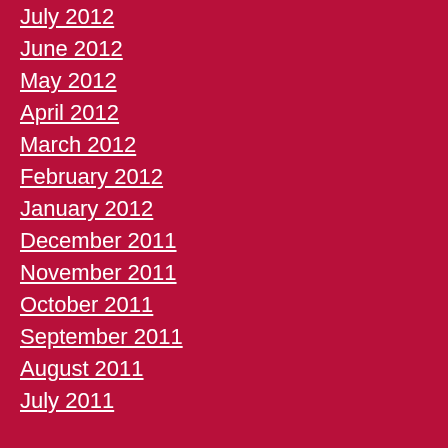July 2012
June 2012
May 2012
April 2012
March 2012
February 2012
January 2012
December 2011
November 2011
October 2011
September 2011
August 2011
July 2011